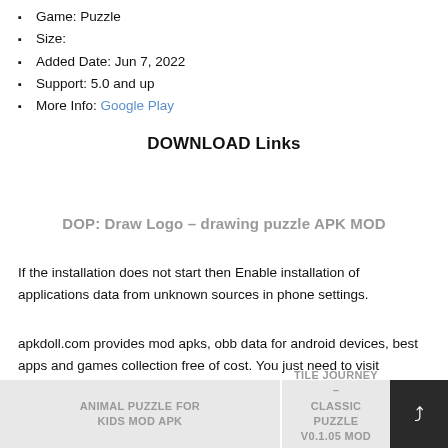Game: Puzzle
Size:
Added Date: Jun 7, 2022
Support: 5.0 and up
More Info: Google Play
DOWNLOAD Links
DOP: Draw Logo – drawing puzzle APK MOD
If the installation does not start then Enable installation of applications data from unknown sources in phone settings.
apkdoll.com provides mod apks, obb data for android devices, best apps and games collection free of cost. You just need to visit revdlmod.com search for desire apps or game click on download button and enjoy.
ANIMAL PUZZLE FOR KIDS MOD APK
TILE JOURNEY – CLASSIC PUZZLE V0.1.05 MOD APK